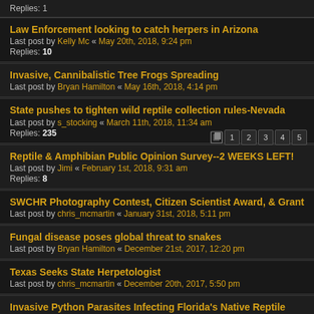Replies: 1
Law Enforcement looking to catch herpers in Arizona
Last post by Kelly Mc « May 20th, 2018, 9:24 pm
Replies: 10
Invasive, Cannibalistic Tree Frogs Spreading
Last post by Bryan Hamilton « May 16th, 2018, 4:14 pm
State pushes to tighten wild reptile collection rules-Nevada
Last post by s_stocking « March 11th, 2018, 11:34 am
Replies: 235
Reptile & Amphibian Public Opinion Survey--2 WEEKS LEFT!
Last post by Jimi « February 1st, 2018, 9:31 am
Replies: 8
SWCHR Photography Contest, Citizen Scientist Award, & Grant
Last post by chris_mcmartin « January 31st, 2018, 5:11 pm
Fungal disease poses global threat to snakes
Last post by Bryan Hamilton « December 21st, 2017, 12:20 pm
Texas Seeks State Herpetologist
Last post by chris_mcmartin « December 20th, 2017, 5:50 pm
Invasive Python Parasites Infecting Florida's Native Reptile
Last post by Bryan Hamilton « December 18th, 2017, 3:48 pm
SCDNR assists in federal case of protected reptile trafficki
Last post by craigb « December 17th, 2017, 6:52 pm
Replies: 1